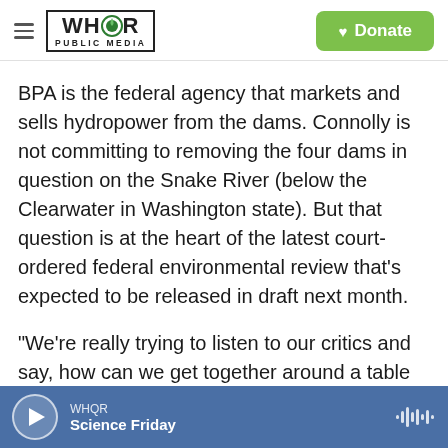WHQR PUBLIC MEDIA | Donate
BPA is the federal agency that markets and sells hydropower from the dams. Connolly is not committing to removing the four dams in question on the Snake River (below the Clearwater in Washington state). But that question is at the heart of the latest court-ordered federal environmental review that's expected to be released in draft next month.
"We're really trying to listen to our critics and say, how can we get together around a table and incorporate your ideas to make things better for the
WHQR | Science Friday